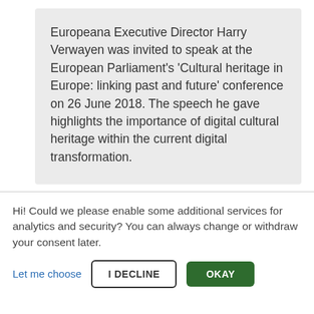Europeana Executive Director Harry Verwayen was invited to speak at the European Parliament's 'Cultural heritage in Europe: linking past and future' conference on 26 June 2018. The speech he gave highlights the importance of digital cultural heritage within the current digital transformation.
[Figure (photo): Partial view of a dark grey/green textured surface, cropped at the bottom of the visible area]
Hi! Could we please enable some additional services for analytics and security? You can always change or withdraw your consent later.
Let me choose
I DECLINE
OKAY